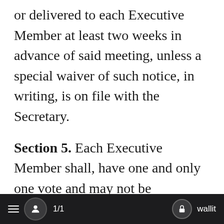or delivered to each Executive Member at least two weeks in advance of said meeting, unless a special waiver of such notice, in writing, is on file with the Secretary.
Section 5. Each Executive Member shall, have one and only one vote and may not be represented by proxy, except, however, that at any meeting of the Executive Members the written vote of an absent Executive Member signed by him shall be received and counted, providing that he shall have been previously notified, in writing, of the exact motion,
1/1   wallit